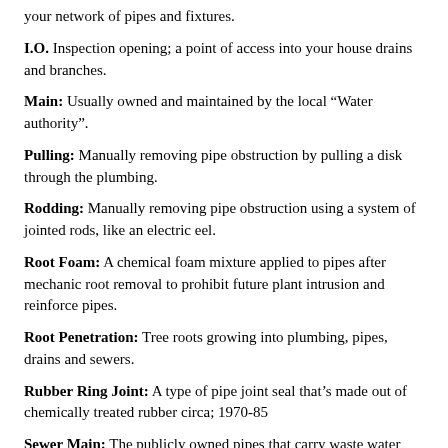your network of pipes and fixtures.
I.O. Inspection opening; a point of access into your house drains and branches.
Main: Usually owned and maintained by the local “Water authority”.
Pulling: Manually removing pipe obstruction by pulling a disk through the plumbing.
Rodding: Manually removing pipe obstruction using a system of jointed rods, like an electric eel.
Root Foam: A chemical foam mixture applied to pipes after mechanic root removal to prohibit future plant intrusion and reinforce pipes.
Root Penetration: Tree roots growing into plumbing, pipes, drains and sewers.
Rubber Ring Joint: A type of pipe joint seal that’s made out of chemically treated rubber circa; 1970-85
Sewer Main: The publicly owned pipes that carry waste water away from your property.
Sludge: Sort of the opposite of scum, this is pipe obstruction that sinks to the bottom of plumbing.